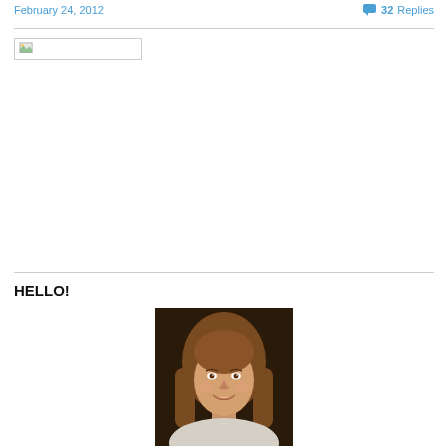February 24, 2012
32 Replies
[Figure (photo): Broken/missing image placeholder with small image icon]
HELLO!
[Figure (photo): Portrait photo of a smiling woman with long brown hair]